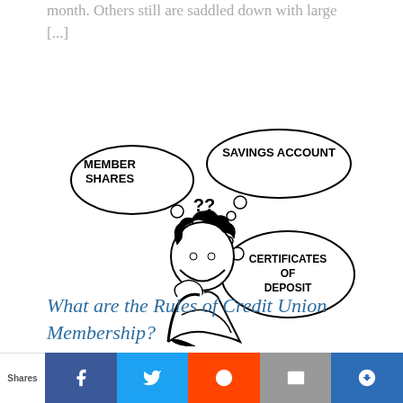month. Others still are saddled down with large [...]
[Figure (illustration): A cartoon illustration of a person with curly hair looking confused, with thought bubbles showing 'MEMBER SHARES', 'SAVINGS ACCOUNT', '??', and 'CERTIFICATES OF DEPOSIT'.]
What are the Rules of Credit Union Membership?
In the last couple of years, there has
Shares | Facebook | Twitter | Reddit | Email | Stumble